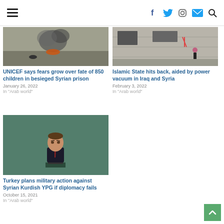Navigation bar with hamburger menu, social icons (Facebook, Twitter, Instagram, Email), and search icon
[Figure (photo): Smoke and fire visible on a road or landscape, war/conflict scene]
UNICEF says fears grow over fate of 850 children in besieged Syrian prison
January 26, 2022
In "Arab world"
[Figure (photo): Person walking near a damaged concrete building with graffiti, street scene in Syria or Iraq]
Islamic State hits back, aided by power vacuum in Iraq and Syria
February 3, 2022
In "Arab world"
[Figure (photo): Man in dark suit speaking at a podium, likely Turkish President Erdogan at the UN General Assembly, green/teal background]
Turkey plans military action against Syrian Kurdish YPG if diplomacy fails
October 15, 2021
In "Arab world"